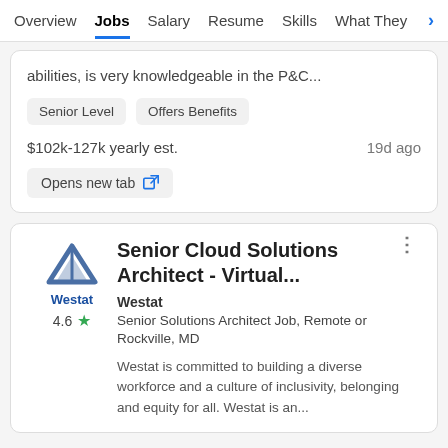Overview  Jobs  Salary  Resume  Skills  What They >
abilities, is very knowledgeable in the P&C...
Senior Level   Offers Benefits
$102k-127k yearly est.    19d ago
Opens new tab
Senior Cloud Solutions Architect - Virtual...
Westat
Senior Solutions Architect Job, Remote or Rockville, MD
Westat is committed to building a diverse workforce and a culture of inclusivity, belonging and equity for all. Westat is an...